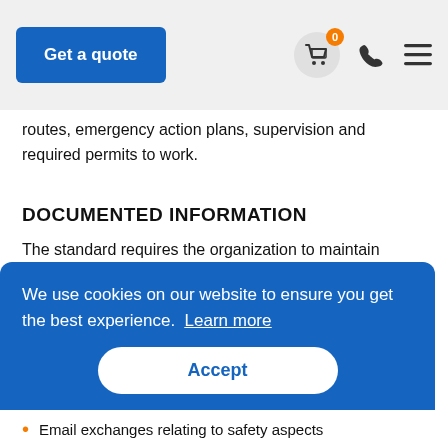Get a quote
routes, emergency action plans, supervision and required permits to work.
DOCUMENTED INFORMATION
The standard requires the organization to maintain documented information relating to the procurement of products and services including contractor arrangements. Below is a list of examples of documented information considered for retention:
We use cookies on our website to ensure you get the best experience. Learn more
Accept
Email exchanges relating to safety aspects